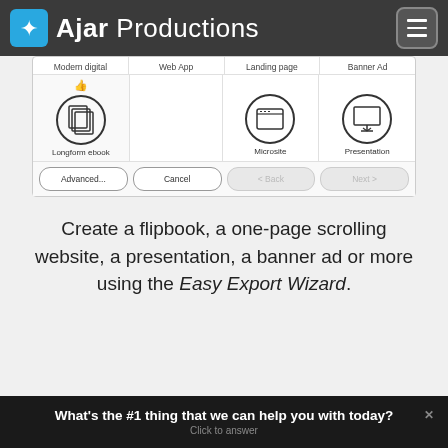Ajar Productions
[Figure (screenshot): Easy Export Wizard dialog showing format options: Modern digital, Web App, Landing page, Banner Ad (top row); Longform ebook icon selected with thumbs-up, Microsite icon, Presentation icon (bottom row). Buttons: Advanced..., Cancel, < Back, Next >]
Create a flipbook, a one-page scrolling website, a presentation, a banner ad or more using the Easy Export Wizard.
What's the #1 thing that we can help you with today? Click to answer